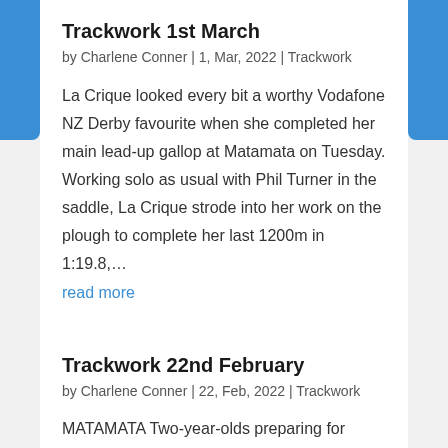Trackwork 1st March
by Charlene Conner | 1, Mar, 2022 | Trackwork
La Crique looked every bit a worthy Vodafone NZ Derby favourite when she completed her main lead-up gallop at Matamata on Tuesday. Working solo as usual with Phil Turner in the saddle, La Crique strode into her work on the plough to complete her last 1200m in 1:19.8,...
read more
Trackwork 22nd February
by Charlene Conner | 22, Feb, 2022 | Trackwork
MATAMATA Two-year-olds preparing for home-track features this weekend caught the eye at Matamata on Tuesday morning. Last-start